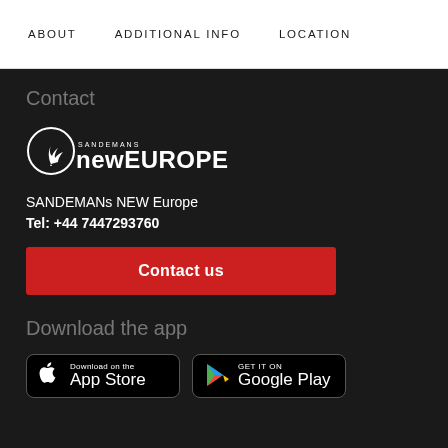ABOUT   ADDITIONAL INFO   LOCATION
Contact
[Figure (logo): SANDEMANs NEW Europe logo — circular icon with leaf motif and text SANDEMANS NEWEUROPE]
SANDEMANs NEW Europe
Tel: +44 7447293760
Contact us
Download the app
[Figure (other): App Store and Google Play download badges]